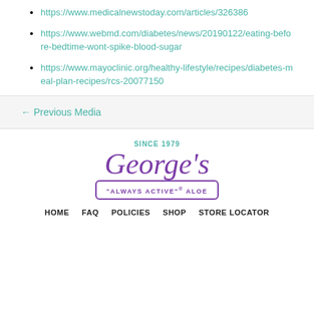https://www.medicalnewstoday.com/articles/326386
https://www.webmd.com/diabetes/news/20190122/eating-before-bedtime-wont-spike-blood-sugar
https://www.mayoclinic.org/healthy-lifestyle/recipes/diabetes-meal-plan-recipes/rcs-20077150
← Previous Media
[Figure (logo): George's Aloe logo with 'SINCE 1979' text above in teal, 'George's' in large purple cursive script, and 'ALWAYS ACTIVE® ALOE' in a purple rounded rectangle border below]
HOME  FAQ  POLICIES  SHOP  STORE LOCATOR